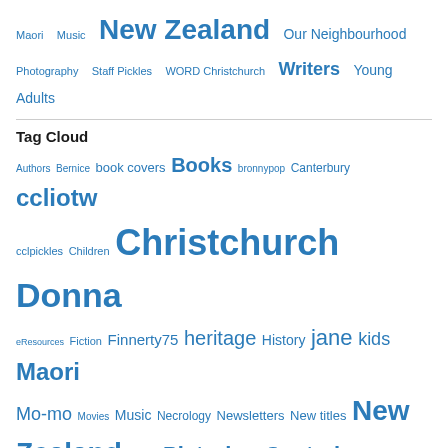Maori  Music  New Zealand  Our Neighbourhood  Photography  Staff Pickles  WORD Christchurch  Writers  Young Adults
Tag Cloud
Authors Bernice book covers Books bronnypop Canterbury ccliotw cclpickles Children Christchurch Donna eResources Fiction Finnerty75 heritage History jane kids Maori Mo-mo Movies Music Necrology Newsletters New titles New Zealand photos Picturing Canterbury Poetry robertafsmith te kupu o te wiki Te Reo Māori The word of the week this week in history Vanessa WORDCHCH WORD Christchurch WORD Christchurch Writers and Readers